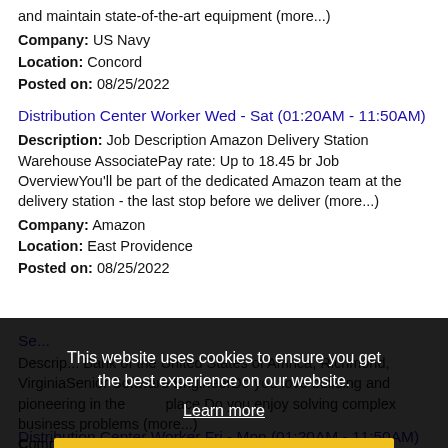and maintain state-of-the-art equipment (more...)
Company: US Navy
Location: Concord
Posted on: 08/25/2022
Distribution Center Worker Wed - Sat (01:20AM - 11:50AM)
Description: Job Description Amazon Delivery Station Warehouse AssociatePay rate: Up to 18.45 br Job OverviewYou'll be part of the dedicated Amazon team at the delivery station - the last stop before we deliver (more...)
Company: Amazon
Location: East Providence
Posted on: 08/25/2022
This website uses cookies to ensure you get the best experience on our website.
Learn more
Got it!
Description: ... Bank of the United States of America, Richmond, VirginiaSenior Software EngineerDo you love building and pioneering in the ... place Do you enjoy solving complex business problems (more...)
Company: Capital One
Location: East Providence
Posted on: 08/25/2022
Distribution Center Worker Fri - Mon (01:20AM - 11:50AM)